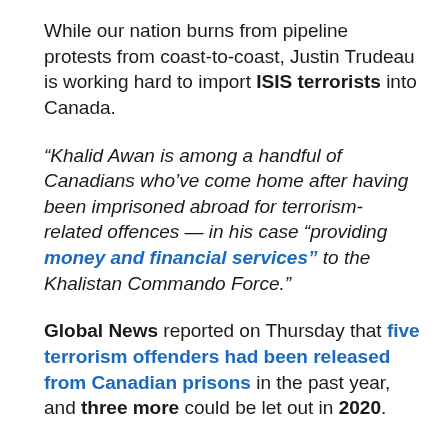While our nation burns from pipeline protests from coast-to-coast, Justin Trudeau is working hard to import ISIS terrorists into Canada.
“Khalid Awan is among a handful of Canadians who’ve come home after having been imprisoned abroad for terrorism-related offences — in his case “providing money and financial services” to the Khalistan Commando Force.”
Global News reported on Thursday that five terrorism offenders had been released from Canadian prisons in the past year, and three more could be let out in 2020.